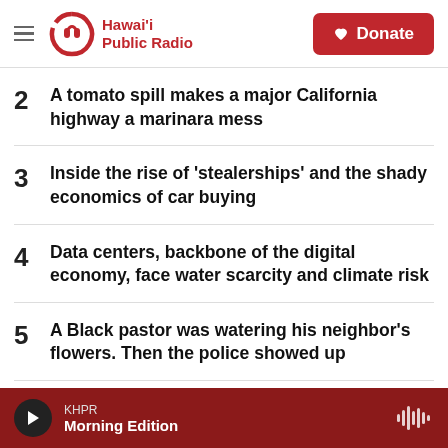Hawaii Public Radio — Donate
2 A tomato spill makes a major California highway a marinara mess
3 Inside the rise of 'stealerships' and the shady economics of car buying
4 Data centers, backbone of the digital economy, face water scarcity and climate risk
5 A Black pastor was watering his neighbor's flowers. Then the police showed up
KHPR Morning Edition